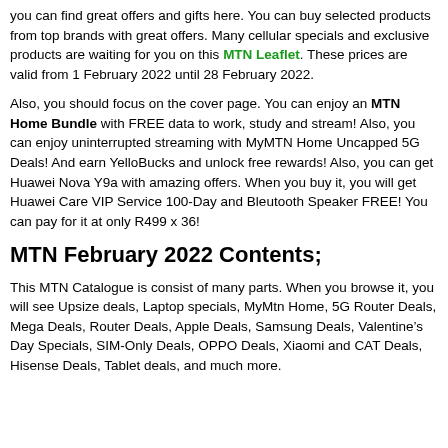you can find great offers and gifts here. You can buy selected products from top brands with great offers. Many cellular specials and exclusive products are waiting for you on this MTN Leaflet. These prices are valid from 1 February 2022 until 28 February 2022.
Also, you should focus on the cover page. You can enjoy an MTN Home Bundle with FREE data to work, study and stream! Also, you can enjoy uninterrupted streaming with MyMTN Home Uncapped 5G Deals! And earn YelloBucks and unlock free rewards! Also, you can get Huawei Nova Y9a with amazing offers. When you buy it, you will get Huawei Care VIP Service 100-Day and Bleutooth Speaker FREE! You can pay for it at only R499 x 36!
MTN February 2022 Contents;
This MTN Catalogue is consist of many parts. When you browse it, you will see Upsize deals, Laptop specials, MyMtn Home, 5G Router Deals, Mega Deals, Router Deals, Apple Deals, Samsung Deals, Valentine’s Day Specials, SIM-Only Deals, OPPO Deals, Xiaomi and CAT Deals, Hisense Deals, Tablet deals, and much more.